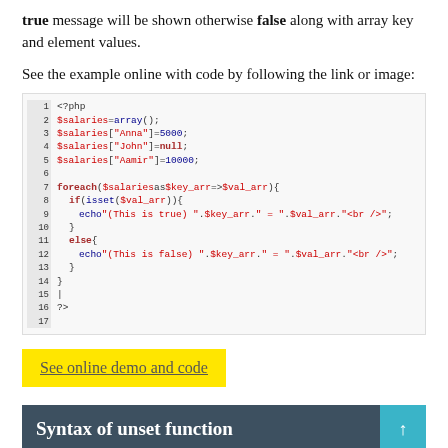true message will be shown otherwise false along with array key and element values.
See the example online with code by following the link or image:
[Figure (screenshot): PHP code block showing foreach loop over $salaries array using isset() to check values, echoing true/false messages with key and value]
See online demo and code
Syntax of unset function
Following is the general syntax to use PHP unset function: